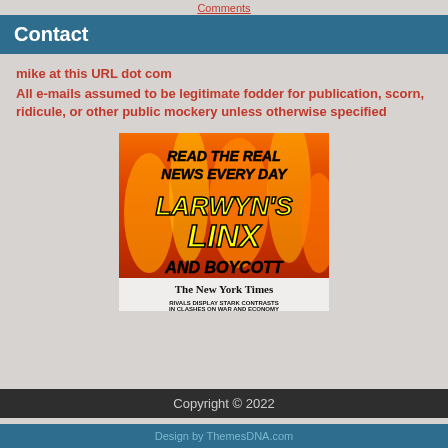Comments
Contact
mike at this URL dot com
All e-mails assumed to be legitimate fodder for publication, scorn, ridicule, or other public mockery unless otherwise specified
[Figure (illustration): Promotional banner reading 'READ THE REAL NEWS EVERY DAY LARWYN'S LINX AND BOYCOTT' with flames background, overlaid on a New York Times newspaper front page showing 'RIVALS DISPLAY STARK CONTRASTS IN CLASHES ON WAR AND ECONOMY']
Copyright © 2022
Design by ThemesDNA.com